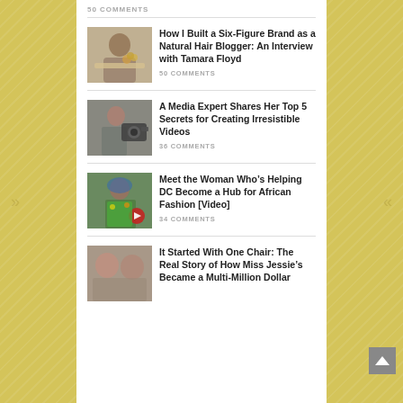50 COMMENTS
How I Built a Six-Figure Brand as a Natural Hair Blogger: An Interview with Tamara Floyd
50 COMMENTS
A Media Expert Shares Her Top 5 Secrets for Creating Irresistible Videos
36 COMMENTS
Meet the Woman Who’s Helping DC Become a Hub for African Fashion [Video]
34 COMMENTS
It Started With One Chair: The Real Story of How Miss Jessie’s Became a Multi-Million Dollar